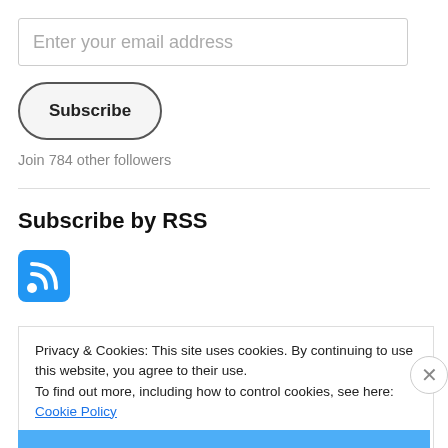Enter your email address
Subscribe
Join 784 other followers
Subscribe by RSS
[Figure (logo): Blue RSS feed icon button]
Privacy & Cookies: This site uses cookies. By continuing to use this website, you agree to their use. To find out more, including how to control cookies, see here: Cookie Policy
Close and accept